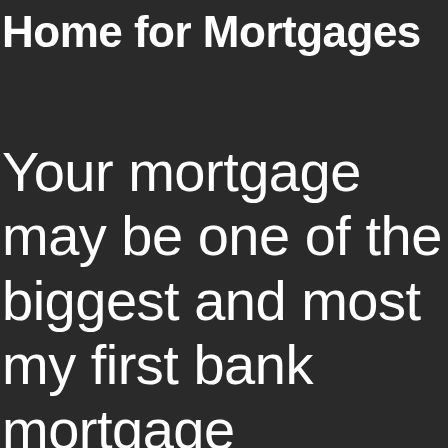Home for Mortgages
Your mortgage may be one of the biggest and most my first bank mortgage investments in your entire life. For all of us